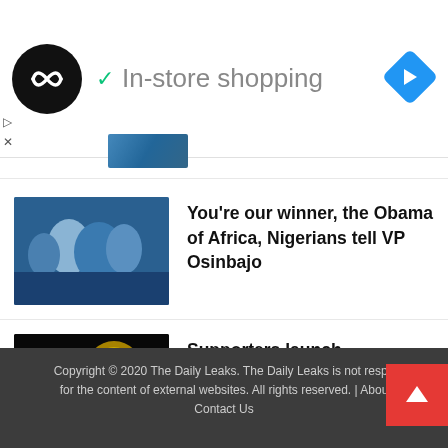[Figure (screenshot): Ad banner with circular black logo with infinity-like symbol, green checkmark, text 'In-store shopping' in grey, blue diamond navigation icon on right]
[Figure (screenshot): Collapse/up-arrow button and partial thumbnail image of people]
[Figure (photo): Photo of group of people, likely at an event, used as news article thumbnail]
You’re our winner, the Obama of Africa, Nigerians tell VP Osinbajo
[Figure (photo): Dark photo with gold coin/medal and silhouette figure with #BankOnYou text, used as news article thumbnail]
Supporters launch crowdfunding for Osinbajo presidential run with #BankOnOsinbajo hashtag
Copyright © 2020 The Daily Leaks. The Daily Leaks is not responsible for the content of external websites. All rights reserved. | About Contact Us